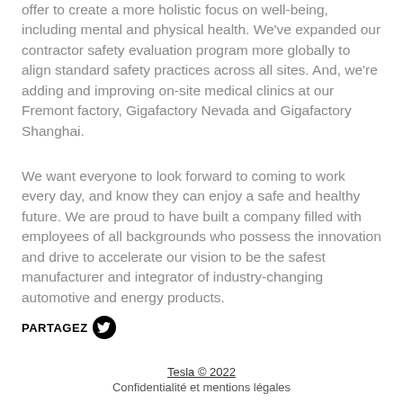offer to create a more holistic focus on well-being, including mental and physical health. We've expanded our contractor safety evaluation program more globally to align standard safety practices across all sites. And, we're adding and improving on-site medical clinics at our Fremont factory, Gigafactory Nevada and Gigafactory Shanghai.
We want everyone to look forward to coming to work every day, and know they can enjoy a safe and healthy future. We are proud to have built a company filled with employees of all backgrounds who possess the innovation and drive to accelerate our vision to be the safest manufacturer and integrator of industry-changing automotive and energy products.
PARTAGEZ [Twitter icon]
Tesla © 2022
Confidentialité et mentions légales